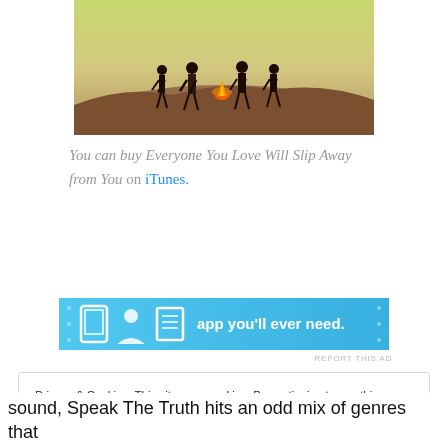[Figure (photo): Four band members standing on rocky terrain with a small fire between them, against a gradient sky background]
You can buy Everyone You Love Will Slip Away from You on iTunes.
[Figure (other): Blue advertisement banner with icons and text reading 'app you'll ever need.']
REPORT THIS AD
Privacy & Cookies: This site uses cookies. By continuing to use this website, you agree to their use.
To find out more, including how to control cookies, see here: Cookie Policy
Close and accept
sound, Speak The Truth hits an odd mix of genres that